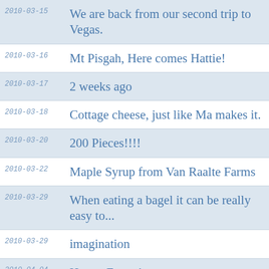2010-03-15 We are back from our second trip to Vegas.
2010-03-16 Mt Pisgah, Here comes Hattie!
2010-03-17 2 weeks ago
2010-03-18 Cottage cheese, just like Ma makes it.
2010-03-20 200 Pieces!!!!
2010-03-22 Maple Syrup from Van Raalte Farms
2010-03-29 When eating a bagel it can be really easy to...
2010-03-29 imagination
2010-04-04 Happy Easter!